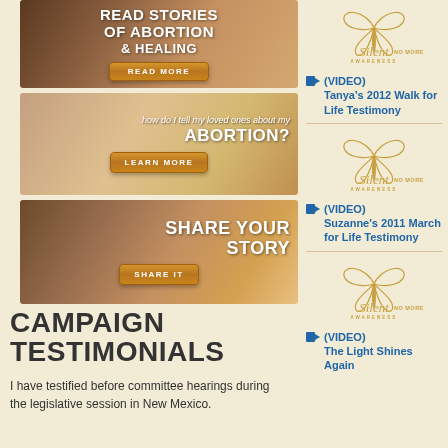[Figure (photo): Banner: Read Stories of Abortion & Healing with orange button READ MORE]
[Figure (photo): Banner: how do I tell my loved ones about my ABORTION? with orange button LEARN MORE]
[Figure (photo): Banner: SHARE YOUR STORY with orange button SHARE IT]
CAMPAIGN TESTIMONIALS
I have testified before committee hearings during the legislative session in New Mexico.
[Figure (logo): Silent No More Awareness logo - butterfly with text]
(VIDEO) Tanya's 2012 Walk for Life Testimony
[Figure (logo): Silent No More Awareness logo - butterfly with text]
(VIDEO) Suzanne's 2011 March for Life Testimony
[Figure (logo): Silent No More Awareness logo - butterfly with text]
(VIDEO) The Light Shines Again